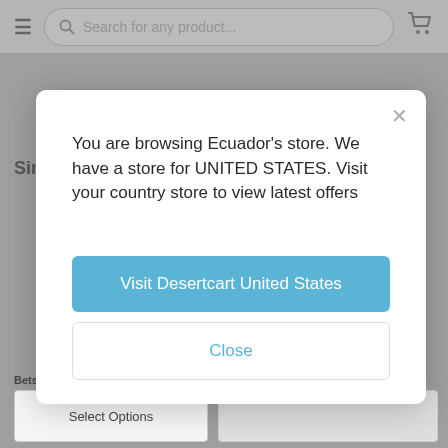[Figure (screenshot): E-commerce website navigation bar with hamburger menu, search bar reading 'Search for any product...', and shopping cart icon]
Sim
Betsey Johnson Mixed Multi-
Pearl Critters Owl Drop Earrings
Select Options
You are browsing Ecuador's store. We have a store for UNITED STATES. Visit your country store to view latest offers
Visit Desertcart United States
Close